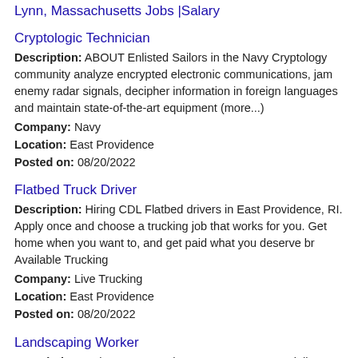Lynn, Massachusetts Jobs |Salary
Cryptologic Technician
Description: ABOUT Enlisted Sailors in the Navy Cryptology community analyze encrypted electronic communications, jam enemy radar signals, decipher information in foreign languages and maintain state-of-the-art equipment (more...)
Company: Navy
Location: East Providence
Posted on: 08/20/2022
Flatbed Truck Driver
Description: Hiring CDL Flatbed drivers in East Providence, RI. Apply once and choose a trucking job that works for you. Get home when you want to, and get paid what you deserve br Available Trucking
Company: Live Trucking
Location: East Providence
Posted on: 08/20/2022
Landscaping Worker
Description: Salary: 17.00 an hourR17608Lawn Specialist30 Access Road, Warwick, Rhode Island 02886 Job Description Do you like being outdoors Do you like a job where every day is